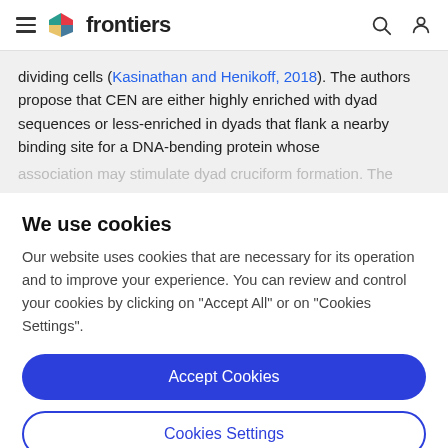frontiers
dividing cells (Kasinathan and Henikoff, 2018). The authors propose that CEN are either highly enriched with dyad sequences or less-enriched in dyads that flank a nearby binding site for a DNA-bending protein whose association may stimulate dyad cruciform formation. The
We use cookies
Our website uses cookies that are necessary for its operation and to improve your experience. You can review and control your cookies by clicking on "Accept All" or on "Cookies Settings".
Accept Cookies
Cookies Settings